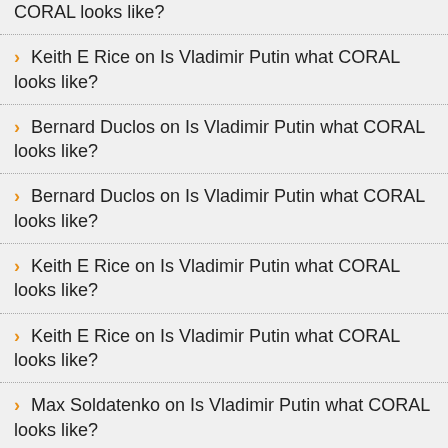CORAL looks like?
Keith E Rice on Is Vladimir Putin what CORAL looks like?
Bernard Duclos on Is Vladimir Putin what CORAL looks like?
Bernard Duclos on Is Vladimir Putin what CORAL looks like?
Keith E Rice on Is Vladimir Putin what CORAL looks like?
Keith E Rice on Is Vladimir Putin what CORAL looks like?
Max Soldatenko on Is Vladimir Putin what CORAL looks like?
David Burnby on Is Vladimir Putin what CORAL looks like?